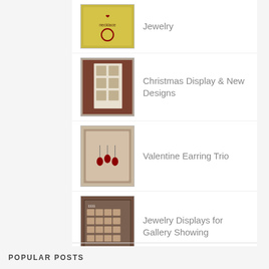Jewelry
Christmas Display & New Designs
Valentine Earring Trio
Jewelry Displays for Gallery Showing
Upcycled Spoon Racks
Refurbished Items for Jewelry Display
POPULAR POSTS